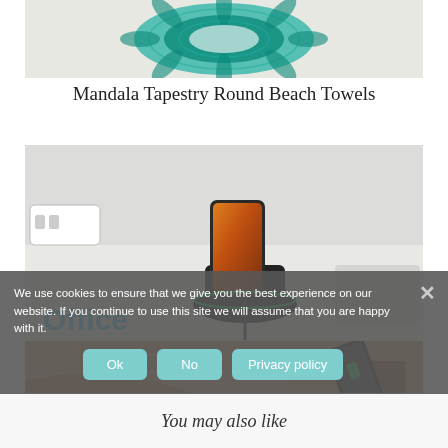[Figure (photo): Mandala tapestry round beach towel — green teal circular mandala pattern on light background]
Mandala Tapestry Round Beach Towels
[Figure (photo): Wireless phone charger on desk with phone charging, labeled 'Office' in blue text]
[Figure (photo): Phone on wireless charger in bedroom/nightstand setting]
Yootech [2 Pack] Wireless Charger,Qi-Certified
We use cookies to ensure that we give you the best experience on our website. If you continue to use this site we will assume that you are happy with it.
Ok  No  Privacy policy
You may also like